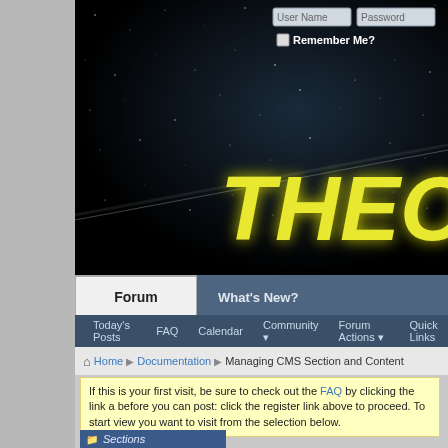[Figure (screenshot): Forum website banner with space/starfield background and yellow italic 'THEO' logo text. Login fields (User Name, Password) visible in top right with Remember Me checkbox.]
Forum
What's New?
Today's Posts  FAQ  Calendar  Community  Forum Actions  Quick Links
Home ▶ Documentation ▶ Managing CMS Section and Content
If this is your first visit, be sure to check out the FAQ by clicking the link above before you can post: click the register link above to proceed. To start view you want to visit from the selection below.
Sections